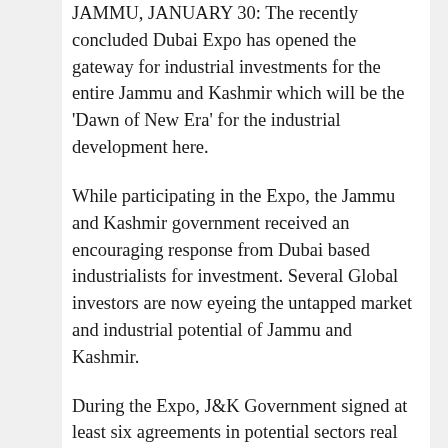JAMMU, JANUARY 30: The recently concluded Dubai Expo has opened the gateway for industrial investments for the entire Jammu and Kashmir which will be the 'Dawn of New Era' for the industrial development here.
While participating in the Expo, the Jammu and Kashmir government received an encouraging response from Dubai based industrialists for investment. Several Global investors are now eyeing the untapped market and industrial potential of Jammu and Kashmir.
During the Expo, J&K Government signed at least six agreements in potential sectors real estate, infrastructure, tourism, healthcare, food processing and others, generating large amount of investments which will be remarkable for the industrial growth of J&K.
While participating in Expo, several known UAE based companies like Al Maya group, MATU investments LLC, Century Financial, Noon e-commerce and others signed Memorandum of Understanding (MoU) with the government.